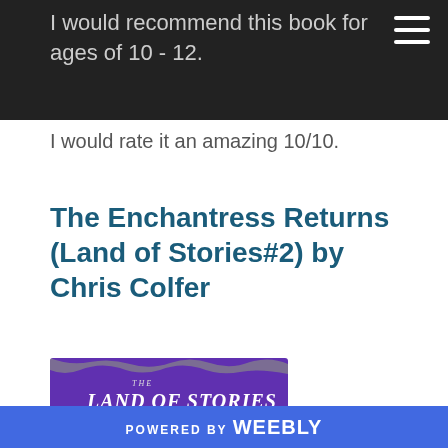I would recommend this book for ages of 10 - 12.
I would rate it an amazing 10/10.
The Enchantress Returns (Land of Stories#2) by Chris Colfer
[Figure (illustration): Book cover of The Land of Stories: The Enchantress Returns by Chris Colfer, showing purple background with ornate title lettering and thorny border design]
POWERED BY weebly